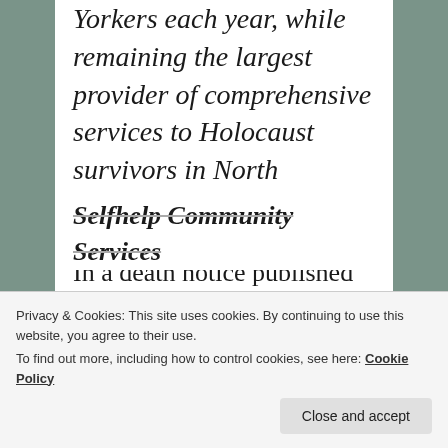Yorkers each year, while remaining the largest provider of comprehensive services to Holocaust survivors in North America.
In a death notice published in The New York Times on March 9, 2010, Selfhelp paid tribute to Eric Sandheimer and his long and
Privacy & Cookies: This site uses cookies. By continuing to use this website, you agree to their use.
To find out more, including how to control cookies, see here: Cookie Policy
Selfhelp Community Services